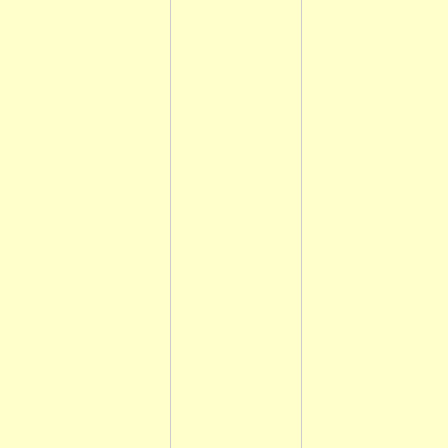GREP
GLO.
/work
/work
/work
/work
/work
/work
/work
/work
/work
/work
/work
/work
/work
/work
/work
/work
/work
/work
/work
/work
/work
/work
/work